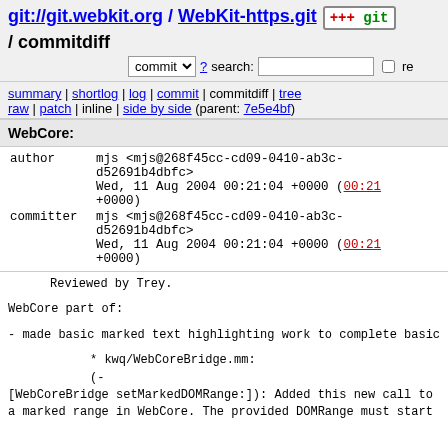git://git.webkit.org / WebKit-https.git / commitdiff
commit ▾ ? search: □ re
summary | shortlog | log | commit | commitdiff | tree
raw | patch | inline | side by side (parent: 7e5e4bf)
WebCore:
author    mjs <mjs@268f45cc-cd09-0410-ab3c-d52691b4dbfc>
          Wed, 11 Aug 2004 00:21:04 +0000 (00:21 +0000)
committer mjs <mjs@268f45cc-cd09-0410-ab3c-d52691b4dbfc>
          Wed, 11 Aug 2004 00:21:04 +0000 (00:21 +0000)
Reviewed by Trey.

WebCore part of:

- made basic marked text highlighting work to complete basic...

        * kwq/WebCoreBridge.mm:
        (-
[WebCoreBridge setMarkedDOMRange:]): Added this new call to
a marked range in WebCore. The provided DOMRange must start...